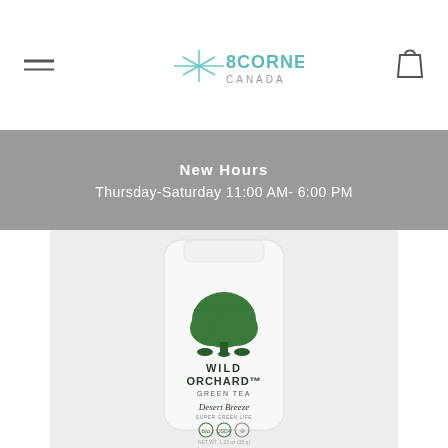8CORNERS CANADA
New Hours
Thursday-Saturday 11:00 AM- 6:00 PM
[Figure (photo): White pouch of Wild Orchard Green Tea, Desert Breeze flavor, with green tree logo and organic certification badges]